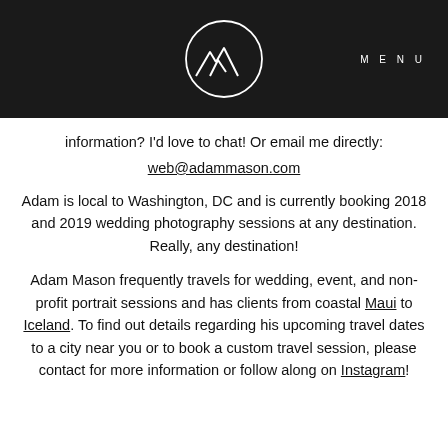[Figure (logo): Mountain peaks logo inside a circle on dark background with MENU text]
information? I'd love to chat! Or email me directly:
web@adammason.com
Adam is local to Washington, DC and is currently booking 2018 and 2019 wedding photography sessions at any destination. Really, any destination!
Adam Mason frequently travels for wedding, event, and non-profit portrait sessions and has clients from coastal Maui to Iceland. To find out details regarding his upcoming travel dates to a city near you or to book a custom travel session, please contact for more information or follow along on Instagram!